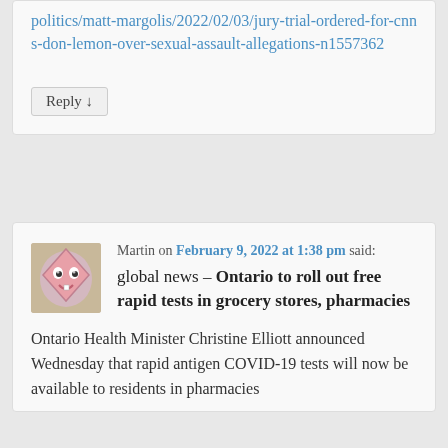politics/matt-margolis/2022/02/03/jury-trial-ordered-for-cnns-don-lemon-over-sexual-assault-allegations-n1557362
Reply ↓
Martin on February 9, 2022 at 1:38 pm said:
global news – Ontario to roll out free rapid tests in grocery stores, pharmacies
Ontario Health Minister Christine Elliott announced Wednesday that rapid antigen COVID-19 tests will now be available to residents in pharmacies